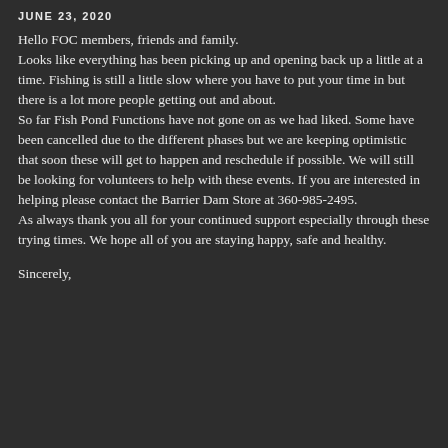JUNE 23, 2020
Hello FOC members, friends and family. Looks like everything has been picking up and opening back up a little at a time. Fishing is still a little slow where you have to put your time in but there is a lot more people getting out and about.
So far Fish Pond Functions have not gone on as we had liked. Some have been cancelled due to the different phases but we are keeping optimistic that soon these will get to happen and reschedule if possible. We will still be looking for volunteers to help with these events. If you are interested in helping please contact the Barrier Dam Store at 360-985-2495.
As always thank you all for your continued support especially through these trying times. We hope all of you are staying happy, safe and healthy.
Sincerely,